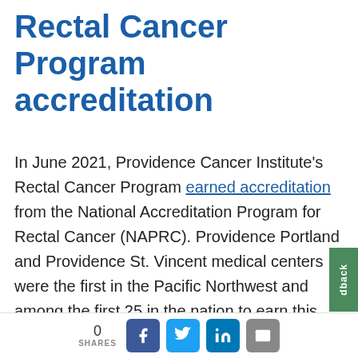Rectal Cancer Program accreditation
In June 2021, Providence Cancer Institute's Rectal Cancer Program earned accreditation from the National Accreditation Program for Rectal Cancer (NAPRC). Providence Portland and Providence St. Vincent medical centers were the first in the Pacific Northwest and among the first 25 in the nation to earn this honor. Dr. Kennecke couldn't be prouder. Since then, Providence Kadlec Regional Medical Center in Richland, Washington, also receive…